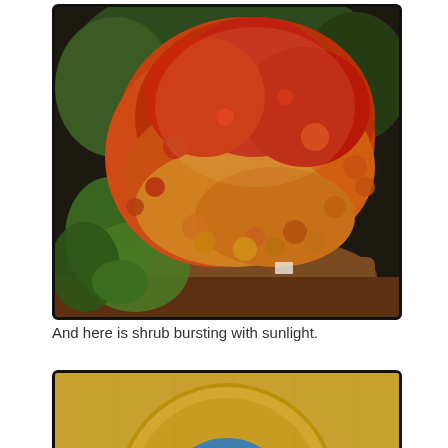[Figure (photo): A shrub with vibrant red, orange, and yellow autumn leaves bursting in sunlight, with large green leaves at the base and dark wooded background. A large brown rock or log is visible at the bottom.]
And here is shrub bursting with sunlight.
[Figure (photo): Bottom portion of a second photo showing a golden-yellow circular object (possibly a plate or decorative item) with blue coloring visible, partially cut off at page bottom.]